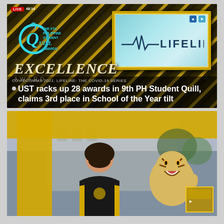[Figure (screenshot): Screenshot of a Philippine Student Quill Awards livestream showing the 9th Philippine Student Quill Awards logo, a gold-framed LIFELINE show graphic, EXCELLENCE AWARD text, and a news headline overlay reading 'UST racks up 28 awards in 9th PH Student Quill, claims 3rd place in School of the Year tilt']
[Figure (photo): Photo of a woman in a UST black-and-yellow jacket standing in front of a large golden UST letter, with a white tiger mascot figure beside her and a historic building in the background]